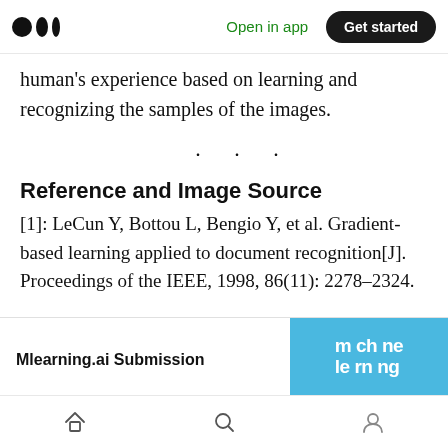Medium app header with logo, Open in app, Get started
human's experience based on learning and recognizing the samples of the images.
· · ·
Reference and Image Source
[1]: LeCun Y, Bottou L, Bengio Y, et al. Gradient-based learning applied to document recognition[J]. Proceedings of the IEEE, 1998, 86(11): 2278–2324.
Mlearning.ai Submission
Bottom navigation bar with home, search, profile icons